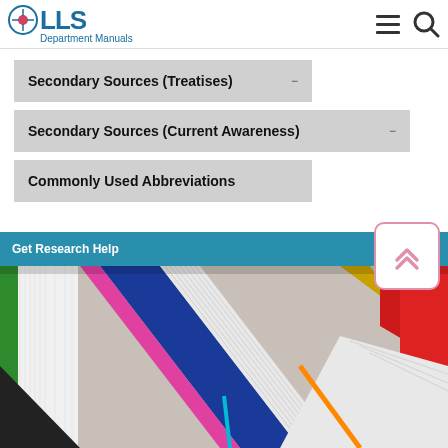LLS Department Manuals
Secondary Sources (Treatises)
Secondary Sources (Current Awareness)
Commonly Used Abbreviations
Get Research Help
[Figure (photo): Colorful open books fanned out and stacked from aerial view, showing spines and pages in various colors including blue, red, green, yellow, and pink.]